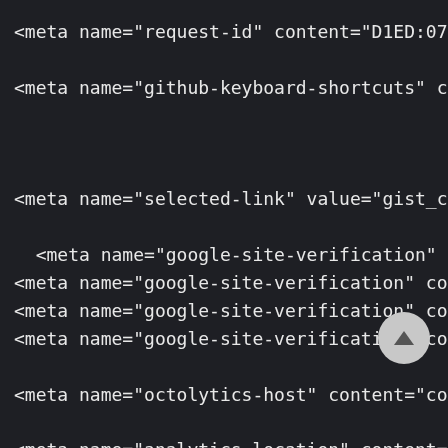<meta name="request-id" content="D1ED:07B4:2D13
<meta name="github-keyboard-shortcuts" content=
<meta name="selected-link" value="gist_code" da
<meta name="google-site-verification" content
<meta name="google-site-verification" content="
<meta name="google-site-verification" content="
<meta name="google-site-verification" content="
<meta name="octolytics-host" content="collector
<meta name="analytics-location" content="/&lt;u
<meta name="octolytics-dimension-public" cont